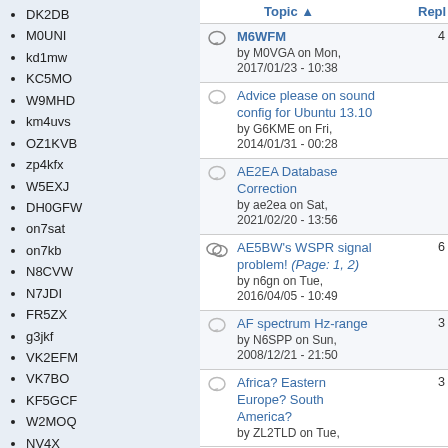DK2DB
M0UNI
kd1mw
KC5MO
W9MHD
km4uvs
OZ1KVB
zp4kfx
W5EXJ
DH0GFW
on7sat
on7kb
N8CVW
N7JDI
FR5ZX
g3jkf
VK2EFM
VK7BO
KF5GCF
W2MOQ
NV4X
PY1ZB
NU1T
GW4JJW
OE1GQA
G4PCI
| Topic | Repl |
| --- | --- |
| M6WFM
by M0VGA on Mon, 2017/01/23 - 10:38 | 4 |
| Advice please on sound config for Ubuntu 13.10
by G6KME on Fri, 2014/01/31 - 00:28 |  |
| AE2EA Database Correction
by ae2ea on Sat, 2021/02/20 - 13:56 |  |
| AE5BW's WSPR signal problem! (Page: 1, 2)
by n6gn on Tue, 2016/04/05 - 10:49 | 6 |
| AF spectrum Hz-range
by N6SPP on Sun, 2008/12/21 - 21:50 | 3 |
| Africa? Eastern Europe? South America?
by ZL2TLD on Tue, | 3 |